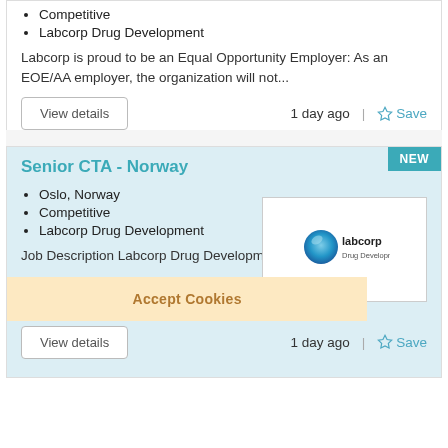Competitive
Labcorp Drug Development
Labcorp is proud to be an Equal Opportunity Employer: As an EOE/AA employer, the organization will not...
View details
1 day ago
Save
Senior CTA - Norway
Oslo, Norway
Competitive
Labcorp Drug Development
Job Description Labcorp Drug Development is looking to hi...
[Figure (logo): Labcorp Drug Development logo with blue circular swirl icon and text]
Accept Cookies
View details
1 day ago
Save